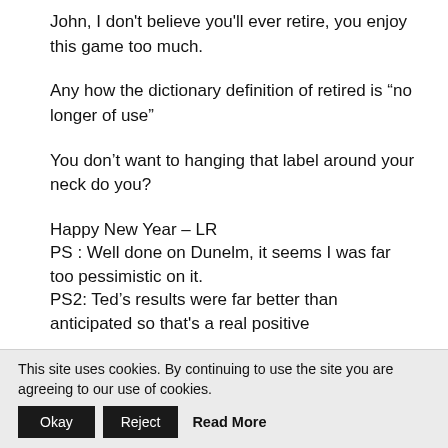John, I don't believe you'll ever retire, you enjoy this game too much.
Any how the dictionary definition of retired is “no longer of use”
You don’t want to hanging that label around your neck do you?
Happy New Year – LR
PS : Well done on Dunelm, it seems I was far too pessimistic on it.
PS2: Ted’s results were far better than anticipated so that’s a real positive
This site uses cookies. By continuing to use the site you are agreeing to our use of cookies. Okay Reject Read More